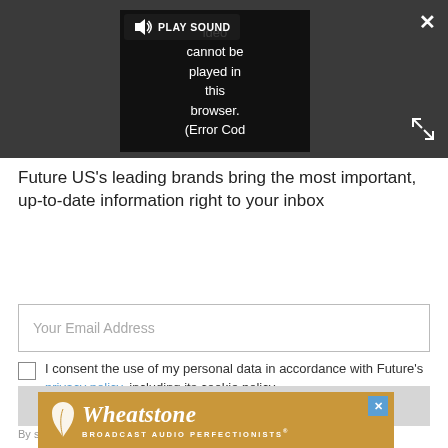[Figure (screenshot): Video player area with dark background showing a video error message 'Video cannot be played in this browser. (Error Cod' and a PLAY SOUND control bar. Close (X) and expand/fullscreen buttons visible.]
Future US's leading brands bring the most important, up-to-date information right to your inbox
[Figure (screenshot): Email address input field with placeholder text 'Your Email Address']
I consent the use of my personal data in accordance with Future's privacy policy, including its cookie policy.
[Figure (screenshot): SIGN ME UP button, greyed out]
By submitting your information you agree to the
[Figure (logo): Wheatstone BROADCAST AUDIO PERFECTIONISTS® advertisement banner in golden/amber color with white leaf logo and italic text]